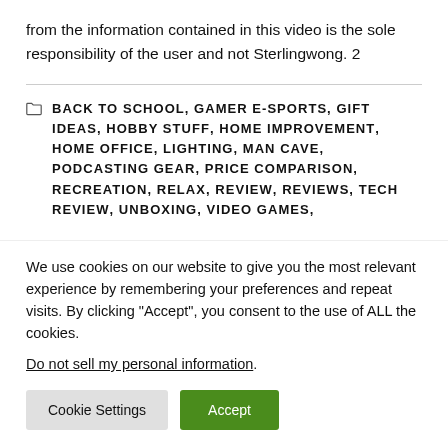from the information contained in this video is the sole responsibility of the user and not Sterlingwong. 2
BACK TO SCHOOL, GAMER E-SPORTS, GIFT IDEAS, HOBBY STUFF, HOME IMPROVEMENT, HOME OFFICE, LIGHTING, MAN CAVE, PODCASTING GEAR, PRICE COMPARISON, RECREATION, RELAX, REVIEW, REVIEWS, TECH REVIEW, UNBOXING, VIDEO GAMES,
We use cookies on our website to give you the most relevant experience by remembering your preferences and repeat visits. By clicking "Accept", you consent to the use of ALL the cookies. Do not sell my personal information.